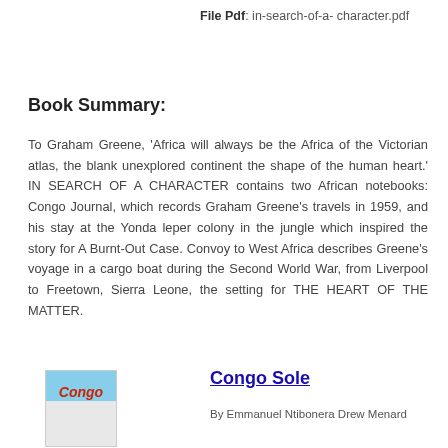File Pdf: in-search-of-a-character.pdf
Book Summary:
To Graham Greene, 'Africa will always be the Africa of the Victorian atlas, the blank unexplored continent the shape of the human heart.' IN SEARCH OF A CHARACTER contains two African notebooks: Congo Journal, which records Graham Greene's travels in 1959, and his stay at the Yonda leper colony in the jungle which inspired the story for A Burnt-Out Case. Convoy to West Africa describes Greene's voyage in a cargo boat during the Second World War, from Liverpool to Freetown, Sierra Leone, the setting for THE HEART OF THE MATTER.
[Figure (illustration): Book cover thumbnail for 'Congo' with teal/blue top and red italic title text]
Congo Sole
By Emmanuel Ntibonera Drew Menard